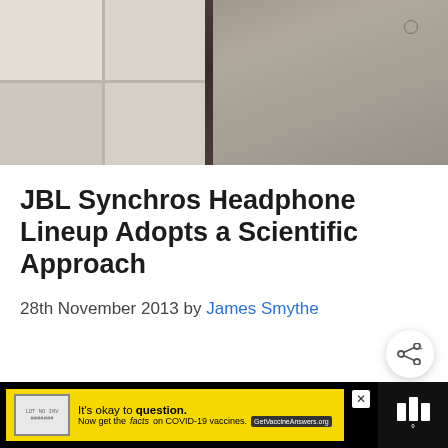[Figure (photo): Top portion of a person wearing a grey tweed/herringbone blazer with a zipper track visible, standing in front of a tiled wall background]
JBL Synchros Headphone Lineup Adopts a Scientific Approach
28th November 2013 by James Smythe
[Figure (other): Share button icon (circular white button with share symbol)]
[Figure (infographic): Advertisement bar: 'It's okay to question. Now get the facts on COVID-19 vaccines. GetVaccineAnswers.org' on yellow background with black surround and logo bars]